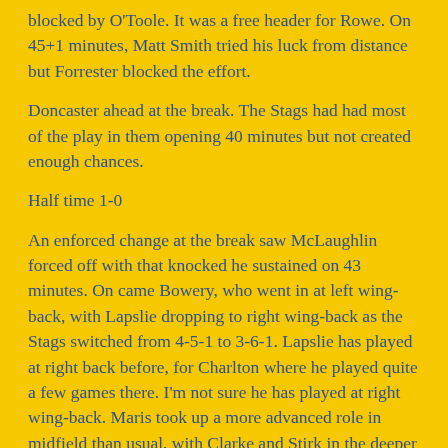blocked by O'Toole. It was a free header for Rowe. On 45+1 minutes, Matt Smith tried his luck from distance but Forrester blocked the effort.
Doncaster ahead at the break. The Stags had had most of the play in them opening 40 minutes but not created enough chances.
Half time 1-0
An enforced change at the break saw McLaughlin forced off with that knocked he sustained on 43 minutes. On came Bowery, who went in at left wing-back, with Lapslie dropping to right wing-back as the Stags switched from 4-5-1 to 3-6-1. Lapslie has played at right back before, for Charlton where he played quite a few games there. I'm not sure he has played at right wing-back. Maris took up a more advanced role in midfield than usual, with Clarke and Stirk in the deeper roles. Quinn came inside from his usual widish left position.
The Stags were now attacking the end where the massed ranks of Stags fans were in great voice.
The Stags equalised after 48 minutes. Maris surged